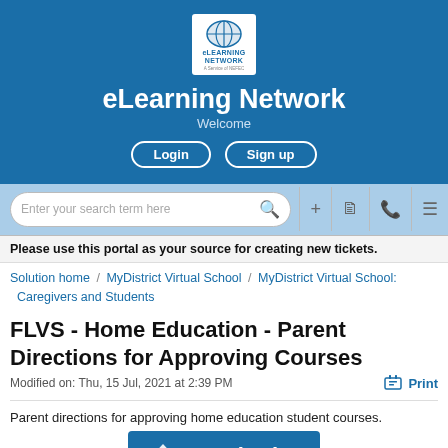[Figure (logo): eLearning Network logo - globe icon with eLEARNING NETWORK text, A Service of NEFEC]
eLearning Network
Welcome
Login   Sign up
[Figure (screenshot): Search bar with Enter your search term here placeholder, plus icons for add, document, phone, and menu]
Please use this portal as your source for creating new tickets.
Solution home / MyDistrict Virtual School / MyDistrict Virtual School: Caregivers and Students
FLVS - Home Education - Parent Directions for Approving Courses
Modified on: Thu, 15 Jul, 2021 at 2:39 PM
Parent directions for approving home education student courses.
[Figure (logo): MyDistrict logo banner - blue background with MyDistrict text and logo icon]